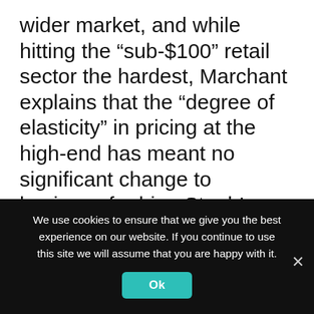wider market, and while hitting the “sub-$100” retail sector the hardest, Marchant explains that the “degree of elasticity” in pricing at the high-end has meant no significant change to business for him. Staub’s view is a touch more conservative; he believes that the threat of even higher tariffs under Trump took its toll on sales of non-physical stock to US clients: “American buyers were more or less absent from the Bordeaux en primeur campaign.” Under a Biden presidency, the tariffs are less likely to be re-imposed next year, and in this case Marchant
We use cookies to ensure that we give you the best experience on our website. If you continue to use this site we will assume that you are happy with it.